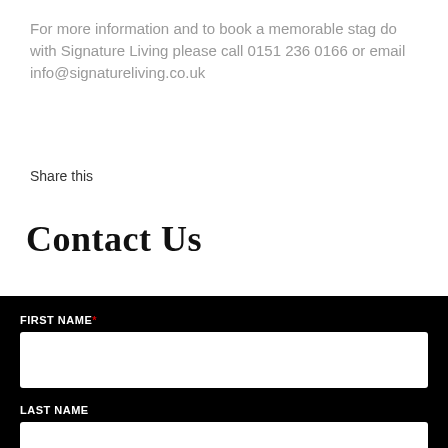For more information and to book a memorable stag do with Signature Living please call 0151 236 0166 or email info@signatureliving.co.uk
Share this
Contact Us
[Figure (screenshot): Contact form with black background showing FIRST NAME (required) and LAST NAME input fields]